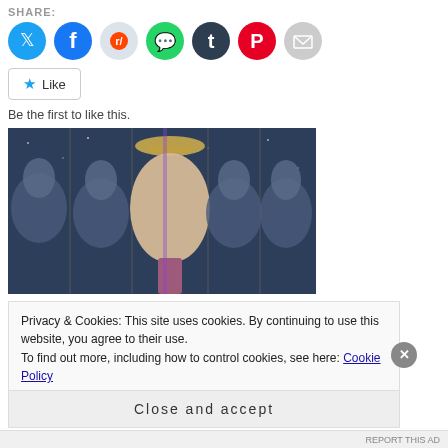SHARE:
[Figure (infographic): Row of social sharing icon buttons: Twitter (blue), Facebook (blue), Reddit (light grey), WhatsApp (green), Tumblr (dark navy), Pinterest (red), Email (grey)]
[Figure (other): Like button with star icon and text 'Like']
Be the first to like this.
[Figure (photo): Composite image showing Doctor Who characters — a man in a hat in the centre with four other characters in blue-tinted portrait panels on either side]
Privacy & Cookies: This site uses cookies. By continuing to use this website, you agree to their use.
To find out more, including how to control cookies, see here: Cookie Policy
Close and accept